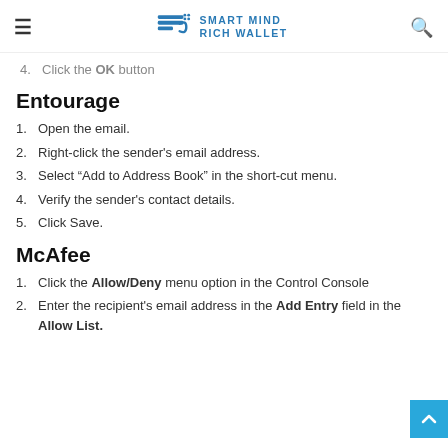Smart Mind Rich Wallet
4. Click the OK button
Entourage
1. Open the email.
2. Right-click the sender's email address.
3. Select "Add to Address Book" in the short-cut menu.
4. Verify the sender's contact details.
5. Click Save.
McAfee
1. Click the Allow/Deny menu option in the Control Console
2. Enter the recipient's email address in the Add Entry field in the Allow List.